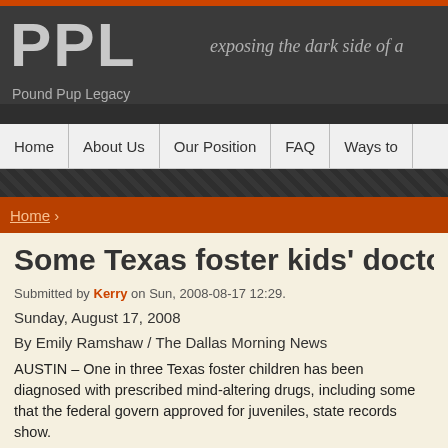PPL — Pound Pup Legacy — exposing the dark side of a...
Home | About Us | Our Position | FAQ | Ways to...
Home ›
Some Texas foster kids' doctors
Submitted by Kerry on Sun, 2008-08-17 12:29.
Sunday, August 17, 2008
By Emily Ramshaw / The Dallas Morning News
AUSTIN – One in three Texas foster children has been diagnosed with prescribed mind-altering drugs, including some that the federal government approved for juveniles, state records show.
Many of these drugs are prescribed by doctors who have a financial sta... pharmaceuticals companies', a Dallas Morning News investigat...